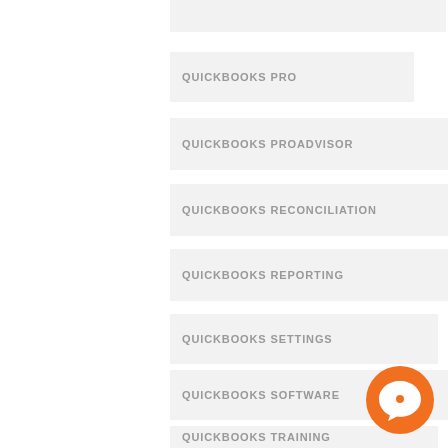QUICKBOOKS PRO
QUICKBOOKS PROADVISOR
QUICKBOOKS RECONCILIATION
QUICKBOOKS REPORTING
QUICKBOOKS SETTINGS
QUICKBOOKS SOFTWARE
QUICKBOOKS TRAINING
QUICKBOOKS TRAINING OR HOW TO
[Figure (logo): Orange circular chat bubble logo with white speech bubble icon]